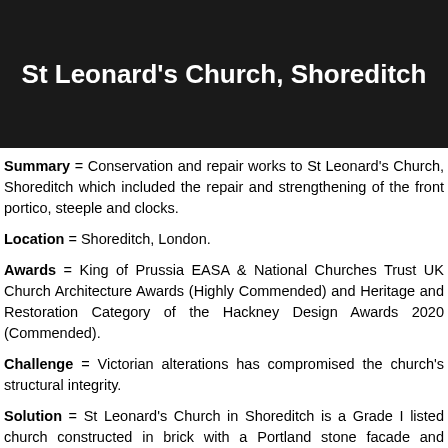St Leonard's Church, Shoreditch
Summary = Conservation and repair works to St Leonard's Church, Shoreditch which included the repair and strengthening of the front portico, steeple and clocks.
Location = Shoreditch, London.
Awards = King of Prussia EASA & National Churches Trust UK Church Architecture Awards (Highly Commended) and Heritage and Restoration Category of the Hackney Design Awards 2020 (Commended).
Challenge = Victorian alterations has compromised the church's structural integrity.
Solution = St Leonard's Church in Shoreditch is a Grade I listed church constructed in brick with a Portland stone facade and dressings...